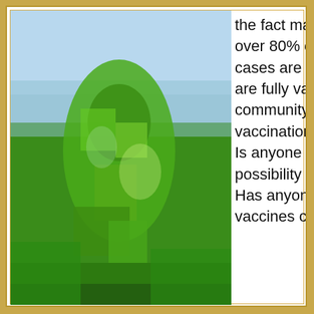[Figure (photo): Blurry outdoor photo showing a person in green clothing standing in a green grassy area with a light blue sky in the background.]
the fact many states are reporting over 80% of whooping cough cases are occurring in those who are fully vaccinated, the medical community is calling for additional vaccinations. Where is the logic? Is anyone considering the possibility of bacterial mutation? Has anyone examined the vaccines currently being [...]